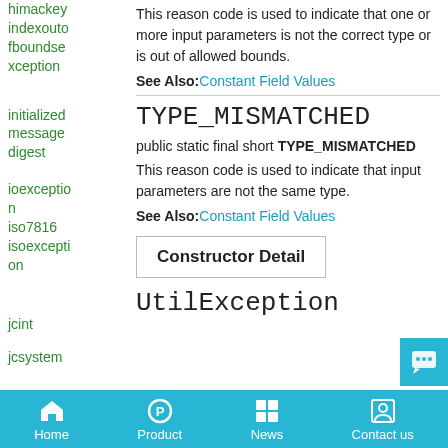himackey
indexoutofboundsexception
This reason code is used to indicate that one or more input parameters is not the correct type or is out of allowed bounds.
See Also: Constant Field Values
initialized
messagedigest
TYPE_MISMATCHED
public static final short TYPE_MISMATCHED
This reason code is used to indicate that input parameters are not the same type.
See Also: Constant Field Values
ioexception
iso7816
isoexception
Constructor Detail
jcint
jcsystem
UtilException
Home  Product  News  Contact us